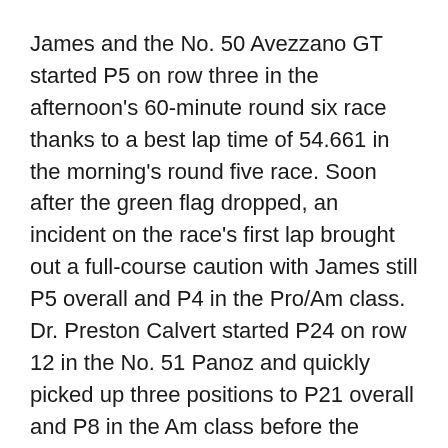James and the No. 50 Avezzano GT started P5 on row three in the afternoon's 60-minute round six race thanks to a best lap time of 54.661 in the morning's round five race. Soon after the green flag dropped, an incident on the race's first lap brought out a full-course caution with James still P5 overall and P4 in the Pro/Am class. Dr. Preston Calvert started P24 on row 12 in the No. 51 Panoz and quickly picked up three positions to P21 overall and P8 in the Am class before the caution flag flew.
Racing resumed on lap 15, and within two laps James moved to P4 overall after getting by the No. 47 NOLAsport Porsche Cayman GT4. Unfortunately, a single-car off-track incident immediately upon the restart ended the day for Calvert and the No. 51 Avezzano GT.
The race continued without further follow-on cautions...